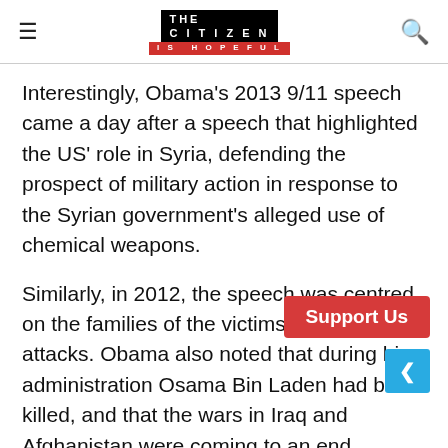THE CITIZEN IS HOPEFUL
Interestingly, Obama's 2013 9/11 speech came a day after a speech that highlighted the US' role in Syria, defending the prospect of military action in response to the Syrian government's alleged use of chemical weapons.
Similarly, in 2012, the speech was centred on the families of the victims of the 9/11 attacks. Obama also noted that during his administration Osama Bin Laden had been killed, and that the wars in Iraq and Afghanistan were coming to an end. "Today the war in Iraq is over" and by 2014 "the war in Afghanistan will be